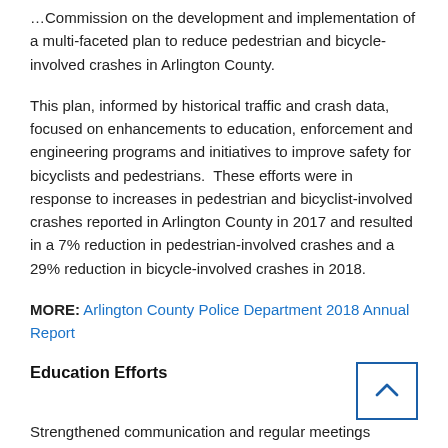...Commission on the development and implementation of a multi-faceted plan to reduce pedestrian and bicycle-involved crashes in Arlington County.
This plan, informed by historical traffic and crash data, focused on enhancements to education, enforcement and engineering programs and initiatives to improve safety for bicyclists and pedestrians.  These efforts were in response to increases in pedestrian and bicyclist-involved crashes reported in Arlington County in 2017 and resulted in a 7% reduction in pedestrian-involved crashes and a 29% reduction in bicycle-involved crashes in 2018.
MORE: Arlington County Police Department 2018 Annual Report
Education Efforts
Strengthened communication and regular meetings between County staff and by the Bicycle and Pedestri...